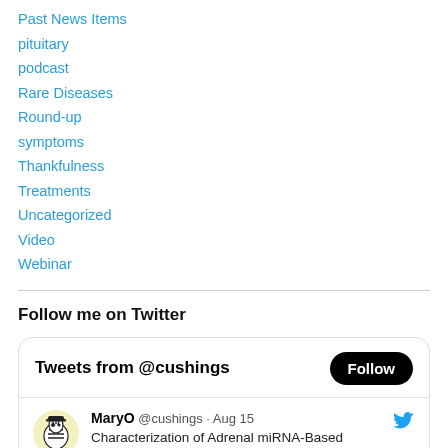Past News Items
pituitary
podcast
Rare Diseases
Round-up
symptoms
Thankfulness
Treatments
Uncategorized
Video
Webinar
Follow me on Twitter
[Figure (screenshot): Twitter widget showing 'Tweets from @cushings' with a Follow button, and a tweet from MaryO @cushings on Aug 15 about 'Characterization of Adrenal miRNA-Based']